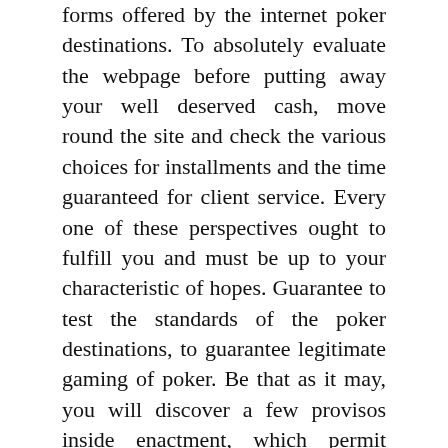forms offered by the internet poker destinations. To absolutely evaluate the webpage before putting away your well deserved cash, move round the site and check the various choices for installments and the time guaranteed for client service. Every one of these perspectives ought to fulfill you and must be up to your characteristic of hopes. Guarantee to test the standards of the poker destinations, to guarantee legitimate gaming of poker. Be that as it may, you will discover a few provisos inside enactment, which permit everyone to play online poker. Especially, presumed online poker web destinations welcome all the players, paying little heed to their territory.

Conceivably, you have to win enormous money in agen judi poker and along with it you wish to blend other gambling on sports, horse dashing and so forth. Check for such malleability in the net poker sites, to choose the website, to play on the web. For